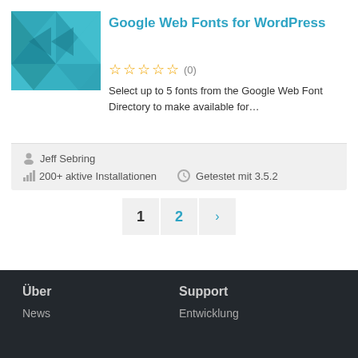[Figure (illustration): Teal geometric polygon/triangle pattern plugin thumbnail]
Google Web Fonts for WordPress
☆☆☆☆☆ (0)
Select up to 5 fonts from the Google Web Font Directory to make available for…
Jeff Sebring
200+ aktive Installationen   Getestet mit 3.5.2
1  2  ›
Über
Support
News
Entwicklung